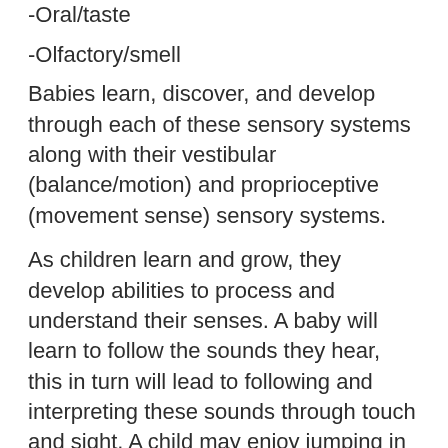-Oral/taste
-Olfactory/smell
Babies learn, discover, and develop through each of these sensory systems along with their vestibular (balance/motion) and proprioceptive (movement sense) sensory systems.
As children learn and grow, they develop abilities to process and understand their senses. A baby will learn to follow the sounds they hear, this in turn will lead to following and interpreting these sounds through touch and sight. A child may enjoy jumping in puddles, their sensory system allows them to; watch as the water